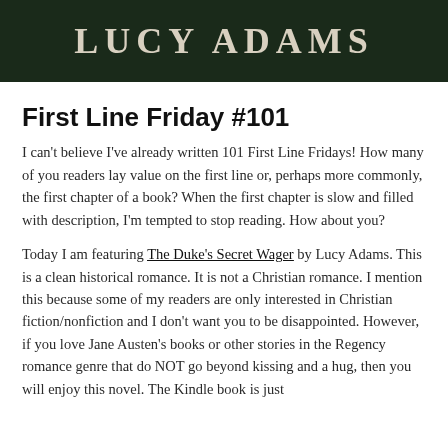[Figure (photo): Dark background header image with author name LUCY ADAMS in large serif capitals with letter-spacing, light gray/cream colored text on dark green/black background]
First Line Friday #101
I can't believe I've already written 101 First Line Fridays! How many of you readers lay value on the first line or, perhaps more commonly, the first chapter of a book? When the first chapter is slow and filled with description, I'm tempted to stop reading. How about you?
Today I am featuring The Duke's Secret Wager by Lucy Adams. This is a clean historical romance. It is not a Christian romance. I mention this because some of my readers are only interested in Christian fiction/nonfiction and I don't want you to be disappointed. However, if you love Jane Austen's books or other stories in the Regency romance genre that do NOT go beyond kissing and a hug, then you will enjoy this novel. The Kindle book is just $0.99! The Amazon original can be f…